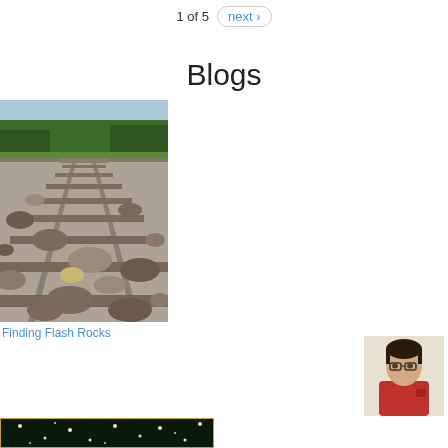1 of 5  next ›
Blogs
[Figure (photo): Low-angle photo of railway tracks with gravel ballast and trees in background]
Finding Flash Rocks
[Figure (photo): Portrait photo of a man wearing glasses and a red shirt]
[Figure (photo): Dark background photo with small bright dots/particles visible]